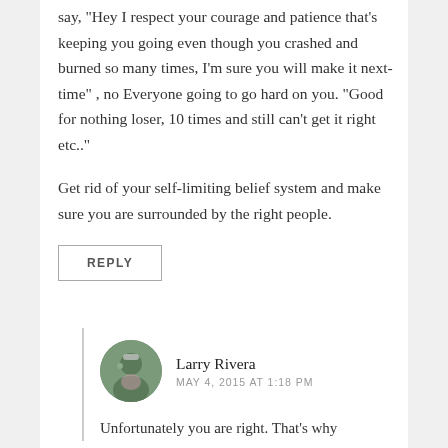say, "Hey I respect your courage and patience that's keeping you going even though you crashed and burned so many times, I'm sure you will make it next-time" , no Everyone going to go hard on you. "Good for nothing loser, 10 times and still can't get it right etc.."
Get rid of your self-limiting belief system and make sure you are surrounded by the right people.
REPLY
Larry Rivera
MAY 4, 2015 AT 1:18 PM
Unfortunately you are right. That's why